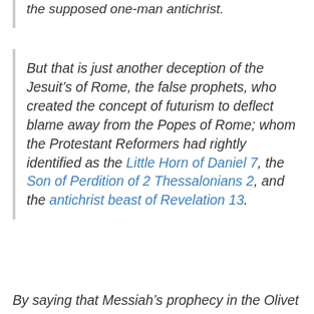the supposed one-man antichrist.
But that is just another deception of the Jesuit’s of Rome, the false prophets, who created the concept of futurism to deflect blame away from the Popes of Rome; whom the Protestant Reformers had rightly identified as the Little Horn of Daniel 7, the Son of Perdition of 2 Thessalonians 2, and the antichrist beast of Revelation 13.
By saying that Messiah’s prophecy in the Olivet